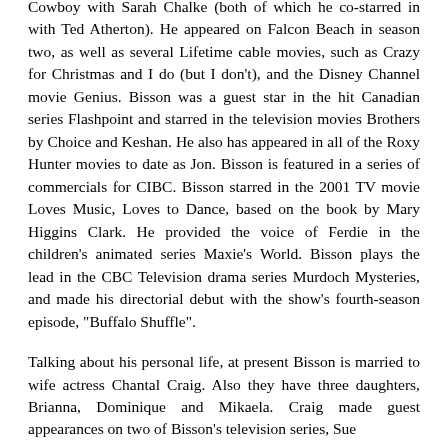Cowboy with Sarah Chalke (both of which he co-starred in with Ted Atherton). He appeared on Falcon Beach in season two, as well as several Lifetime cable movies, such as Crazy for Christmas and I do (but I don't), and the Disney Channel movie Genius. Bisson was a guest star in the hit Canadian series Flashpoint and starred in the television movies Brothers by Choice and Keshan. He also has appeared in all of the Roxy Hunter movies to date as Jon. Bisson is featured in a series of commercials for CIBC. Bisson starred in the 2001 TV movie Loves Music, Loves to Dance, based on the book by Mary Higgins Clark. He provided the voice of Ferdie in the children's animated series Maxie's World. Bisson plays the lead in the CBC Television drama series Murdoch Mysteries, and made his directorial debut with the show's fourth-season episode, "Buffalo Shuffle".
Talking about his personal life, at present Bisson is married to wife actress Chantal Craig. Also they have three daughters, Brianna, Dominique and Mikaela. Craig made guest appearances on two of Bisson's television series, Sue